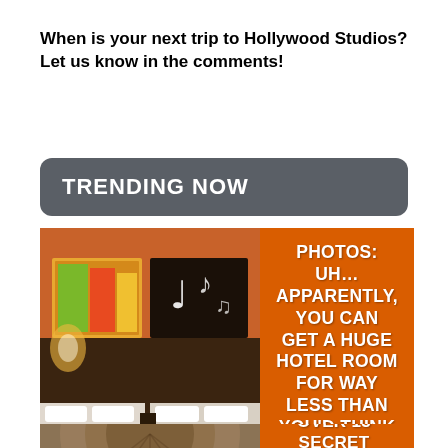When is your next trip to Hollywood Studios? Let us know in the comments!
TRENDING NOW
[Figure (photo): Hotel room with two beds, orange accent wall, musical notes artwork and colorful painting above headboard]
PHOTOS: UH… APPARENTLY, YOU CAN GET A HUGE HOTEL ROOM FOR WAY LESS THAN YOU'D THINK IN DISNEY WORLD
read more
OVER 15 SECRET WALKWAYS TO BEAT
[Figure (photo): Partially visible second article image showing circular pattern]